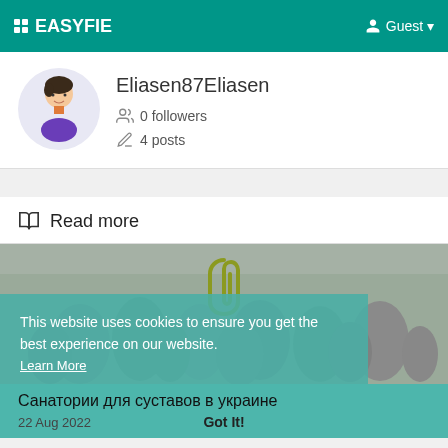⠿ EASYFIE   Guest
Eliasen87Eliasen
0 followers
4 posts
📖 Read more
[Figure (screenshot): Thumbnail image with people crowd in background (grayscale), paperclip icon overlay]
This website uses cookies to ensure you get the best experience on our website. Learn More
Санатории для суставов в украине
22 Aug 2022   Got It!